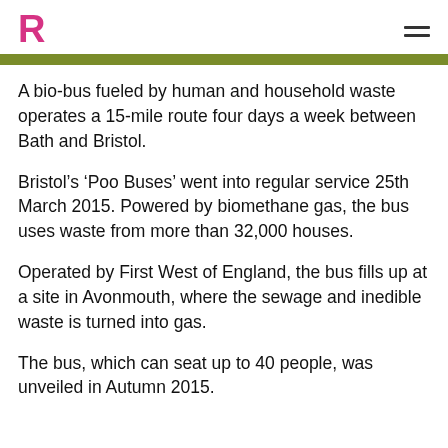R
A bio-bus fueled by human and household waste operates a 15-mile route four days a week between Bath and Bristol.
Bristol’s ‘Poo Buses’ went into regular service 25th March 2015. Powered by biomethane gas, the bus uses waste from more than 32,000 houses.
Operated by First West of England, the bus fills up at a site in Avonmouth, where the sewage and inedible waste is turned into gas.
The bus, which can seat up to 40 people, was unveiled in Autumn 2015.